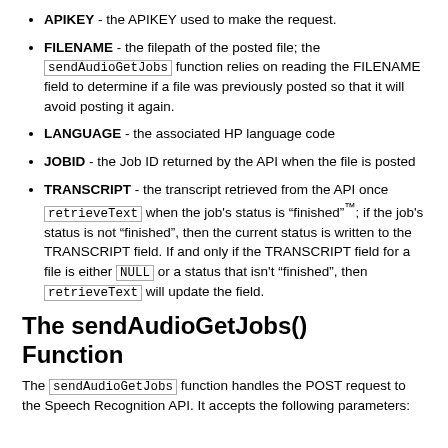APIKEY - the APIKEY used to make the request.
FILENAME - the filepath of the posted file; the sendAudioGetJobs function relies on reading the FILENAME field to determine if a file was previously posted so that it will avoid posting it again.
LANGUAGE - the associated HP language code
JOBID - the Job ID returned by the API when the file is posted
TRANSCRIPT - the transcript retrieved from the API once retrieveText when the job's status is "finished"™; if the job's status is not "finished", then the current status is written to the TRANSCRIPT field. If and only if the TRANSCRIPT field for a file is either NULL or a status that isn't "finished", then retrieveText will update the field.
The sendAudioGetJobs() Function
The sendAudioGetJobs function handles the POST request to the Speech Recognition API. It accepts the following parameters: